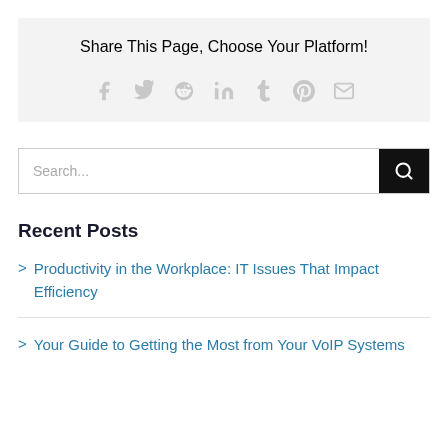Share This Page, Choose Your Platform!
[Figure (infographic): Social share icons: Facebook, Twitter, Reddit, LinkedIn, Tumblr, Pinterest, Email]
Search...
Recent Posts
Productivity in the Workplace: IT Issues That Impact Efficiency
Your Guide to Getting the Most from Your VoIP Systems